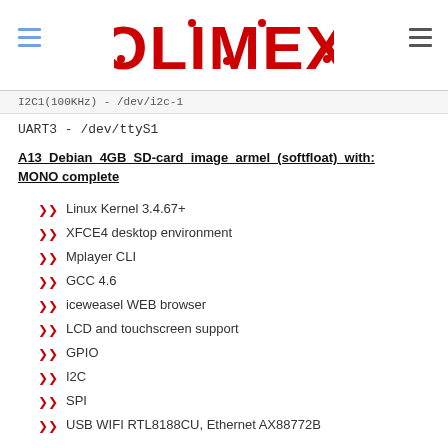OLIMEX logo header with navigation
I2C1(100KHz) - /dev/i2c-1
UART3 - /dev/ttyS1
A13 Debian 4GB SD-card image armel (softfloat) with: MONO complete
Linux Kernel 3.4.67+
XFCE4 desktop environment
Mplayer CLI
GCC 4.6
iceweasel WEB browser
LCD and touchscreen support
GPIO
I2C
SPI
USB WIFI RTL8188CU, Ethernet AX88772B